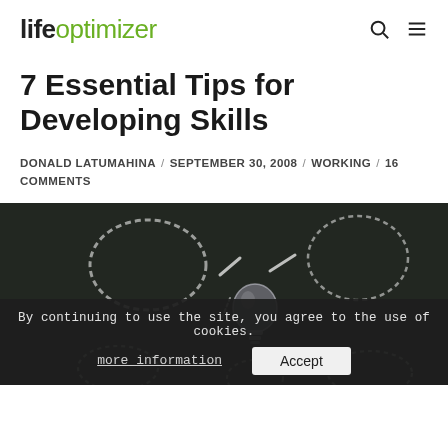lifeoptimizer
7 Essential Tips for Developing Skills
DONALD LATUMAHINA / SEPTEMBER 30, 2008 / WORKING / 16 COMMENTS
[Figure (photo): Chalkboard with a light bulb drawn in chalk, surrounded by chalk circles and lines, representing ideas and skills.]
By continuing to use the site, you agree to the use of cookies. more information Accept